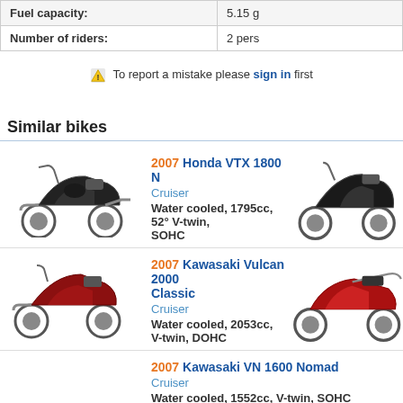| Property | Value |
| --- | --- |
| Fuel capacity: | 5.15 g |
| Number of riders: | 2 pers |
To report a mistake please sign in first
Similar bikes
2007 Honda VTX 1800 N
Cruiser
Water cooled, 1795cc, 52° V-twin, SOHC
2007 Kawasaki Vulcan 2000 Classic
Cruiser
Water cooled, 2053cc, V-twin, DOHC
2007 Kawasaki VN 1600 Nomad
Cruiser
Water cooled, 1552cc, V-twin, SOHC